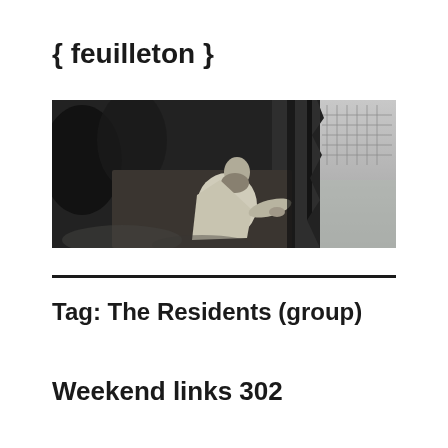{ feuilleton }
[Figure (illustration): Black and white engraving or detailed illustration showing a robed, bearded figure crouching or kneeling near what appears to be a rocky or forested landscape, with a lighter area on the right side suggesting water or sky in the background.]
Tag: The Residents (group)
Weekend links 302